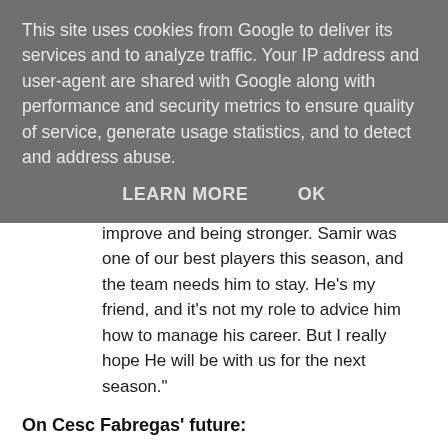This site uses cookies from Google to deliver its services and to analyze traffic. Your IP address and user-agent are shared with Google along with performance and security metrics to ensure quality of service, generate usage statistics, and to detect and address abuse.
LEARN MORE   OK
shirt, and all I wish for him is to always improve and being stronger. Samir was one of our best players this season, and the team needs him to stay. He's my friend, and it's not my role to advice him how to manage his career. But I really hope He will be with us for the next season."
On Cesc Fabregas' future:
"Compared to last summer, I feel him more convinced he will return in his homeland, to play in his hometown, close to his family and for one of the best clubs in the world. But I don't know at what point discussions are, if there is discussions. Only thing I know, is that Cesc is still